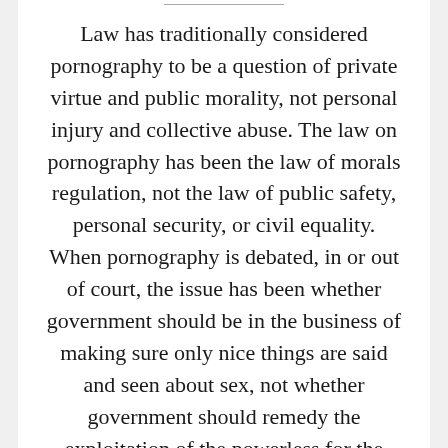Law has traditionally considered pornography to be a question of private virtue and public morality, not personal injury and collective abuse. The law on pornography has been the law of morals regulation, not the law of public safety, personal security, or civil equality. When pornography is debated, in or out of court, the issue has been whether government should be in the business of making sure only nice things are said and seen about sex, not whether government should remedy the exploitation of the powerless for the profit and enjoyment of the powerful. Whether pornography is detrimental to “the social fabric” has